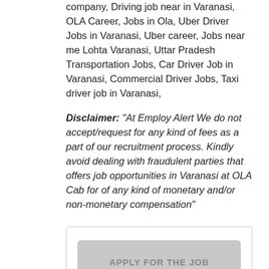company, Driving job near in Varanasi, OLA Career, Jobs in Ola, Uber Driver Jobs in Varanasi, Uber career, Jobs near me Lohta Varanasi, Uttar Pradesh Transportation Jobs, Car Driver Job in Varanasi, Commercial Driver Jobs, Taxi driver job in Varanasi,
Disclaimer: "At Employ Alert We do not accept/request for any kind of fees as a part of our recruitment process. Kindly avoid dealing with fraudulent parties that offers job opportunities in Varanasi at OLA Cab for of any kind of monetary and/or non-monetary compensation"
[Figure (other): A button labeled APPLY FOR THE JOB inside a bordered box]
Required skills